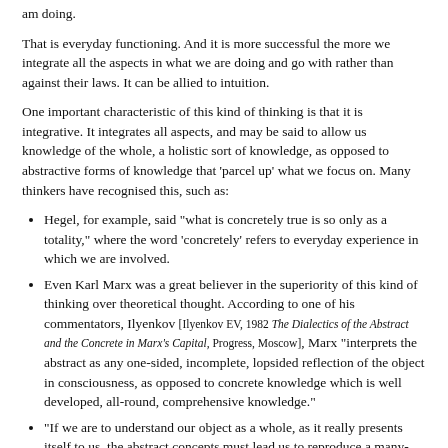am doing.
That is everyday functioning. And it is more successful the more we integrate all the aspects in what we are doing and go with rather than against their laws. It can be allied to intuition.
One important characteristic of this kind of thinking is that it is integrative. It integrates all aspects, and may be said to allow us knowledge of the whole, a holistic sort of knowledge, as opposed to abstractive forms of knowledge that 'parcel up' what we focus on. Many thinkers have recognised this, such as:
Hegel, for example, said "what is concretely true is so only as a totality," where the word 'concretely' refers to everyday experience in which we are involved.
Even Karl Marx was a great believer in the superiority of this kind of thinking over theoretical thought. According to one of his commentators, Ilyenkov [Ilyenkov EV, 1982 The Dialectics of the Abstract and the Concrete in Marx's Capital, Progress, Moscow], Marx "interprets the abstract as any one-sided, incomplete, lopsided reflection of the object in consciousness, as opposed to concrete knowledge which is well developed, all-round, comprehensive knowledge."
"If we are to understand our object as a whole, as it really presents itself to us, the abstract concepts must lead us to reproduce a many-sided and contradictory - 'concrete' -